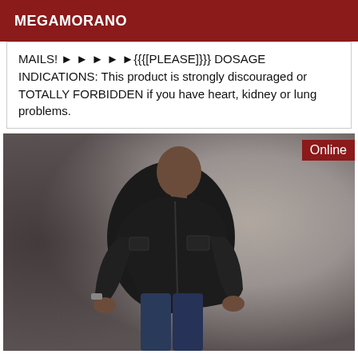MEGAMORANO
MAILS! ► ► ► ► ►{{{[PLEASE]}}} DOSAGE INDICATIONS: This product is strongly discouraged or TOTALLY FORBIDDEN if you have heart, kidney or lung problems.
[Figure (photo): A man wearing a black leather jacket and dark jeans, standing against a gray background, with an 'Online' badge in the top right corner.]